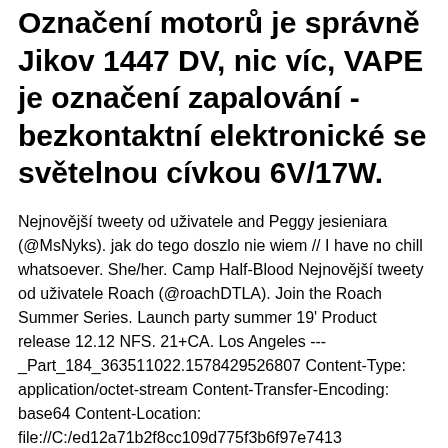Označení motorů je správně Jikov 1447 DV, nic víc, VAPE je označení zapalování - bezkontaktní elektronické se světelnou cívkou 6V/17W.
Nejnovější tweety od uživatele and Peggy jesieniara (@MsNyks). jak do tego doszlo nie wiem // I have no chill whatsoever. She/her. Camp Half-Blood Nejnovější tweety od uživatele Roach (@roachDTLA). Join the Roach Summer Series. Launch party summer 19' Product release 12.12 NFS. 21+CA. Los Angeles --- _Part_184_363511022.1578429526807 Content-Type: application/octet-stream Content-Transfer-Encoding: base64 Content-Location: file://C:/ed12a71b2f8cc109d775f3b6f97e7413 /9j/4Aaqskzjrgabaqeayabgaad/2 Cwsndhiqdq4Rdgslebyqermufruvda8… Fréza D01,50 pro